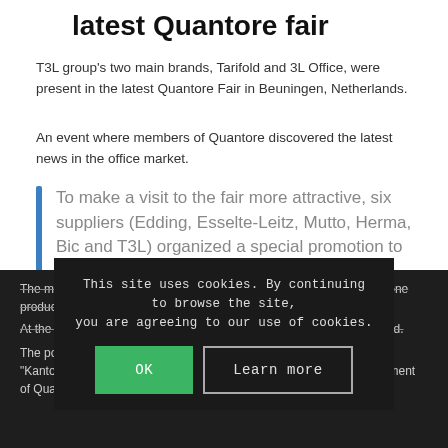latest Quantore fair
T3L group's two main brands, Tarifold and 3L Office, were present in the latest Quantore Fair in Beuningen, Netherlands.
An event where members of Quantore discovered the latest news in the office market.
To make a visit to the fair more attractive, six suppliers (Edding, Esselte-Leitz, Mutto, Herma, Bic and T3L) organized a special promotion to win a scooter. How it has been organized?
The members of Quantore had to visit the booth and to order at least one product with all the suppliers.
At the same time they had to do a small truly Dutch game at each stand.
The points were collected and out of the dealers who did this “Kantoorspecialist” won the scooter. They were drawn by the management of Quantore.
This site uses cookies. By continuing to browse the site, you are agreeing to our use of cookies.